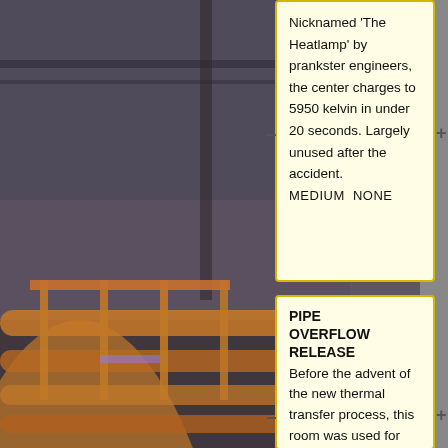[Figure (photo): Background photo of an industrial interior with yellow/orange pipes and railings, dim lighting, catwalks visible.]
Nicknamed 'The Heatlamp' by prankster engineers, the center charges to 5950 kelvin in under 20 seconds. Largely unused after the accident. MEDIUM NONE
Tall ceilings, high catwalks and abandoned cargo trolleys. A useful mix of cover and open lines of fire. LARGE NONE
PIPE OVERFLOW RELEASE Before the advent of the new thermal transfer process, this room was used for spontaneous coolant overflow
|-